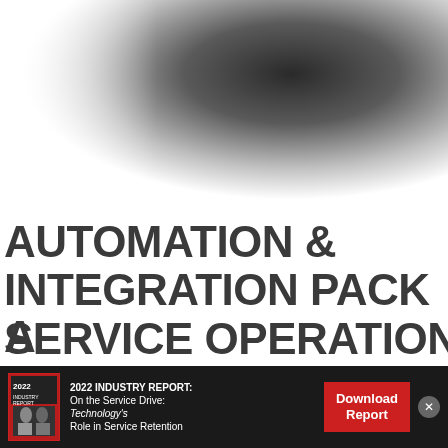[Figure (photo): Large gradient image transitioning from white on the left to dark gray/black on the upper right, occupying the top portion of the page. Appears to be a blurred or faded photograph.]
AUTOMATION & INTEGRATION PACK A POWERFUL PUNCH FOR
[Figure (infographic): Bottom banner advertisement. Black background with a small book cover image on the left showing '2022 Industry Report'. Text reads: '2022 INDUSTRY REPORT: On the Service Drive: Technology's Role in Service Retention'. Red 'Download Report' button on the right. Close button (X) at far right.]